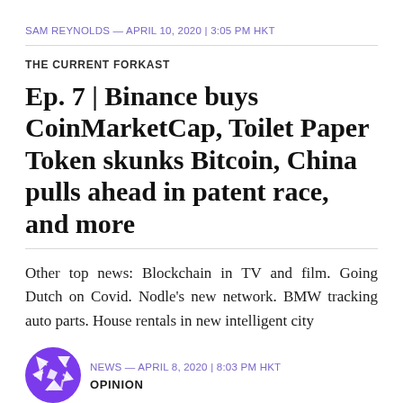SAM REYNOLDS — APRIL 10, 2020 | 3:05 PM HKT
THE CURRENT FORKAST
Ep. 7 | Binance buys CoinMarketCap, Toilet Paper Token skunks Bitcoin, China pulls ahead in patent race, and more
Other top news: Blockchain in TV and film. Going Dutch on Covid. Nodle's new network. BMW tracking auto parts. House rentals in new intelligent city
NEWS — APRIL 8, 2020 | 8:03 PM HKT
[Figure (logo): Purple circular logo with angular arrow/star design in white]
OPINION